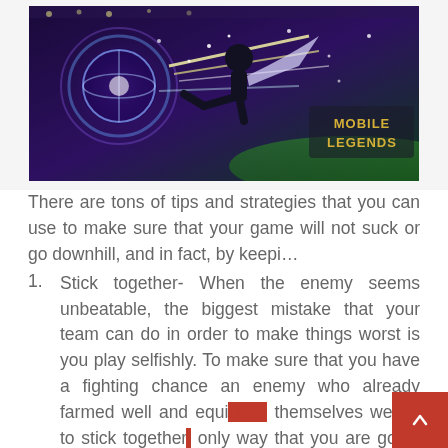[Figure (illustration): Mobile Legends game banner showing a character kicking a glowing orb/ball with purple and blue energy effects. A soccer stadium background is visible. The 'MOBILE LEGENDS' logo appears in the upper right area of the banner.]
There are tons of tips and strategies that you can use to make sure that your game will not suck or go downhill, and in fact, by keepi…
Stick together- When the enemy seems unbeatable, the biggest mistake that your team can do in order to make things worst is you play selfishly. To make sure that you have a fighting chance an enemy who already farmed well and equipped themselves well is to stick together, only way that you are going to be able to